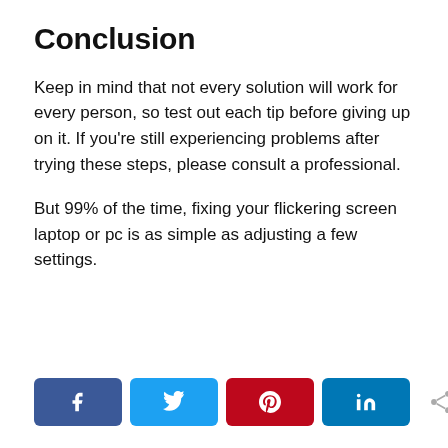Conclusion
Keep in mind that not every solution will work for every person, so test out each tip before giving up on it. If you’re still experiencing problems after trying these steps, please consult a professional.
But 99% of the time, fixing your flickering screen laptop or pc is as simple as adjusting a few settings.
[Figure (other): Social share buttons: Facebook, Twitter, Pinterest, LinkedIn, and a generic share icon with SHARE label]